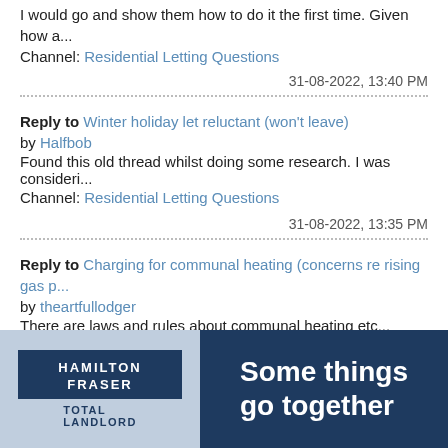I would go and show them how to do it the first time. Given how a... Channel: Residential Letting Questions
31-08-2022, 13:40 PM
Reply to Winter holiday let reluctant (won't leave) by Halfbob Found this old thread whilst doing some research. I was consideri... Channel: Residential Letting Questions
31-08-2022, 13:35 PM
Reply to Charging for communal heating (concerns re rising gas p... by theartfullodger There are laws and rules about communal heating etc... https://w... Channel: Residential Letting Questions
31-08-2022, 13:24 PM
View All
[Figure (logo): Hamilton Fraser Total Landlord logo on left blue-grey background, with dark navy right panel showing text 'Some things go together']